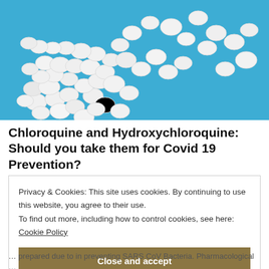[Figure (photo): White round pills/tablets scattered on a bright blue background]
Chloroquine and Hydroxychloroquine: Should you take them for Covid 19 Prevention?
Privacy & Cookies: This site uses cookies. By continuing to use this website, you agree to their use.
To find out more, including how to control cookies, see here:
Cookie Policy
Close and accept
... prepared due to in preventing SARS CoV Bacteria. Pharmacological ...